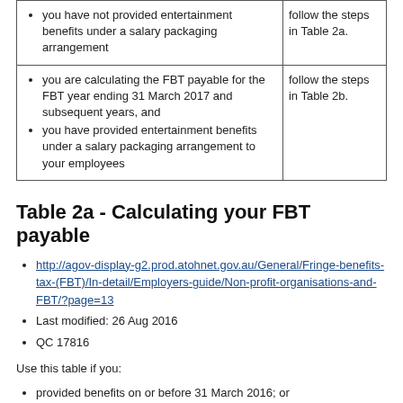| Conditions | Action |
| --- | --- |
| you have not provided entertainment benefits under a salary packaging arrangement | follow the steps in Table 2a. |
| you are calculating the FBT payable for the FBT year ending 31 March 2017 and subsequent years, and
you have provided entertainment benefits under a salary packaging arrangement to your employees | follow the steps in Table 2b. |
Table 2a - Calculating your FBT payable
http://agov-display-g2.prod.atohnet.gov.au/General/Fringe-benefits-tax-(FBT)/In-detail/Employers-guide/Non-profit-organisations-and-FBT/?page=13
Last modified: 26 Aug 2016
QC 17816
Use this table if you:
provided benefits on or before 31 March 2016; or